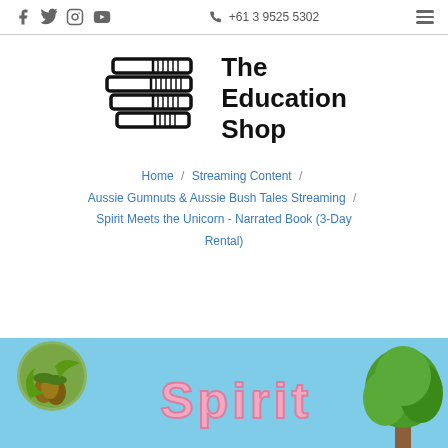Social icons (Facebook, Twitter, Instagram, YouTube) | +61 3 9525 5302 | Menu
[Figure (logo): The Education Shop logo: stacked books icon with bold text 'The Education Shop']
Home / Streaming Content / Aussie Gumnuts & Aussie Bush Tales Streaming / Spirit Meets the Unicorn - Narrated Book (3-Day Rental)
[Figure (photo): Bottom portion of 'Spirit Meets the Unicorn' book cover with light blue background, gumnut character on left, green tree on right, pink 'Spirit' text visible]